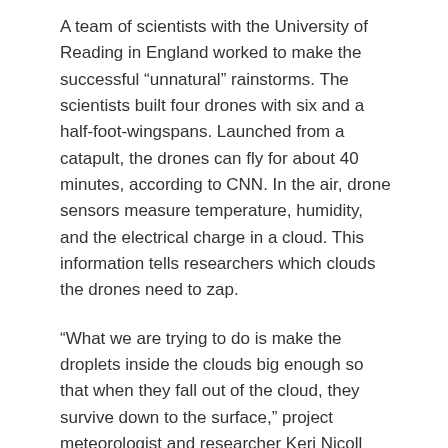A team of scientists with the University of Reading in England worked to make the successful “unnatural” rainstorms. The scientists built four drones with six and a half-foot-wingspans. Launched from a catapult, the drones can fly for about 40 minutes, according to CNN. In the air, drone sensors measure temperature, humidity, and the electrical charge in a cloud. This information tells researchers which clouds the drones need to zap.
“What we are trying to do is make the droplets inside the clouds big enough so that when they fall out of the cloud, they survive down to the surface,” project meteorologist and researcher Keri Nicoll tells CNN. When the drones zap a cloud with electricity, tiny droplets of water vapor clump together, forming raindrops. Those drops fall to the ground instead of evaporating in the heat of midair. A recent downpour in Ras al Khaimah in the northern part of the UAE is evidence that the team’s efforts were a success. That welcome rain was man-made.